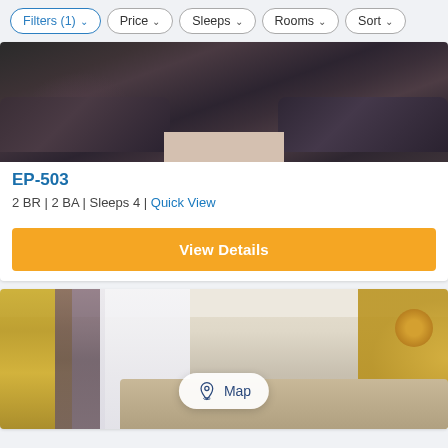Filters (1)  Price  Sleeps  Rooms  Sort
[Figure (photo): Close-up photo of a dark brown leather sofa/couch with tufted back cushions]
EP-503
2 BR | 2 BA | Sleeps 4 | Quick View
View Details
[Figure (photo): Bedroom photo showing yellow and grey curtains with a window, bed headboard visible, and a sunburst mirror on the right wall. A Map button overlay is visible.]